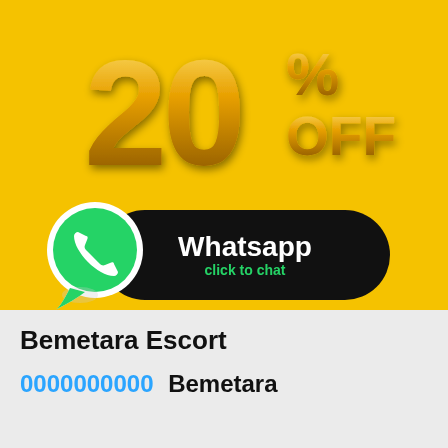[Figure (infographic): Yellow background promotional banner showing '20% OFF' in large 3D gold metallic text with a WhatsApp button below it (black pill-shaped button with WhatsApp icon and 'Whatsapp click to chat' text)]
Bemetara Escort
0000000000 Bemetara